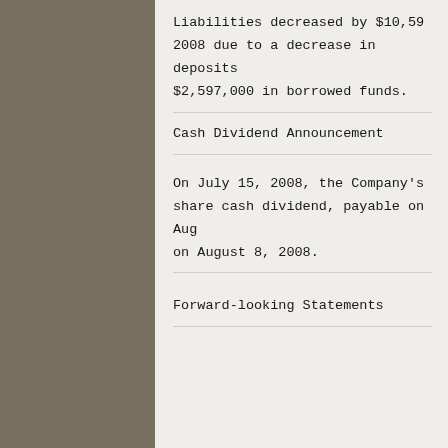Liabilities decreased by $10,59 2008 due to a decrease in deposits $2,597,000 in borrowed funds.
Cash Dividend Announcement
On July 15, 2008, the Company's share cash dividend, payable on Aug on August 8, 2008.
Forward-looking Statements